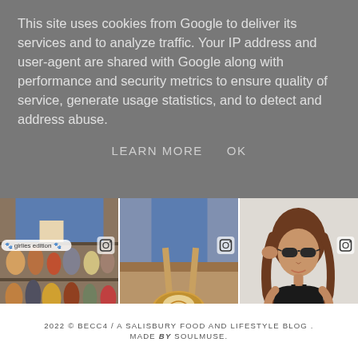This site uses cookies from Google to deliver its services and to analyze traffic. Your IP address and user-agent are shared with Google along with performance and security metrics to ensure quality of service, generate usage statistics, and to detect and address abuse.
LEARN MORE    OK
[Figure (photo): Three Instagram-style photo thumbnails in a grid: left shows Halloween/figurine merchandise on shelves with a 'girlies edition' tag label; center shows hands holding a latte/coffee bowl near wooden floor; right shows a young woman in black crop top and jeans wearing sunglasses.]
2022 © BECC4 / A SALISBURY FOOD AND LIFESTYLE BLOG . MADE by SOULMUSE.